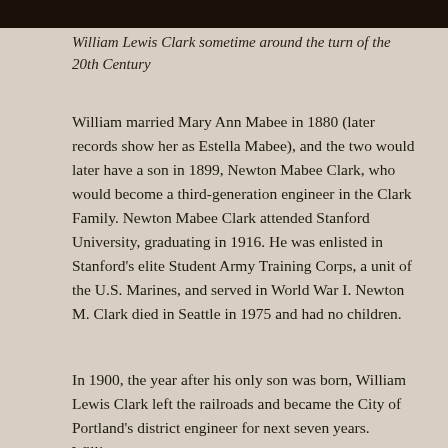[Figure (photo): Dark photograph strip at the top of the page, showing William Lewis Clark sometime around the turn of the 20th Century.]
William Lewis Clark sometime around the turn of the 20th Century
William married Mary Ann Mabee in 1880 (later records show her as Estella Mabee), and the two would later have a son in 1899, Newton Mabee Clark, who would become a third-generation engineer in the Clark Family. Newton Mabee Clark attended Stanford University, graduating in 1916. He was enlisted in Stanford’s elite Student Army Training Corps, a unit of the U.S. Marines, and served in World War I. Newton M. Clark died in Seattle in 1975 and had no children.
In 1900, the year after his only son was born, William Lewis Clark left the railroads and became the City of Portland’s district engineer for next seven years. William